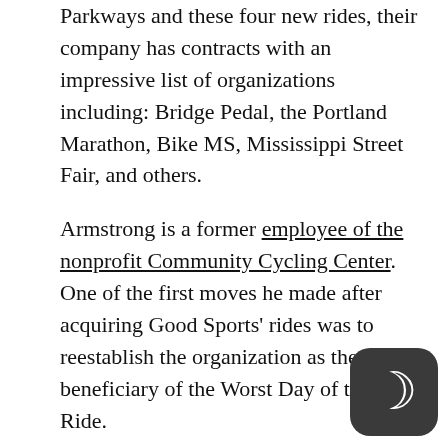Parkways and these four new rides, their company has contracts with an impressive list of organizations including: Bridge Pedal, the Portland Marathon, Bike MS, Mississippi Street Fair, and others.
Armstrong is a former employee of the nonprofit Community Cycling Center. One of the first moves he made after acquiring Good Sports’ rides was to reestablish the organization as the beneficiary of the Worst Day of the Year Ride.
“Worst Day of the Year Ride is a personal favorite of mine from my time at the Community Cycling Center,” said Armstrong in a company statement. He plans to make family and community the focus of the 2018 ride on February 11th that will feature a